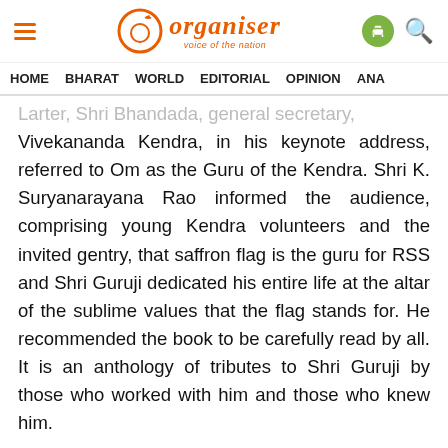Organiser — voice of the nation
HOME  BHARAT  WORLD  EDITORIAL  OPINION  ANA
...Larter, Shri Bhandada, general secretary, Vivekananda Kendra, in his keynote address, referred to Om as the Guru of the Kendra. Shri K. Suryanarayana Rao informed the audience, comprising young Kendra volunteers and the invited gentry, that saffron flag is the guru for RSS and Shri Guruji dedicated his entire life at the altar of the sublime values that the flag stands for. He recommended the book to be carefully read by all. It is an anthology of tributes to Shri Guruji by those who worked with him and those who knew him.
[Figure (infographic): Download Organiser App button with Android icon]